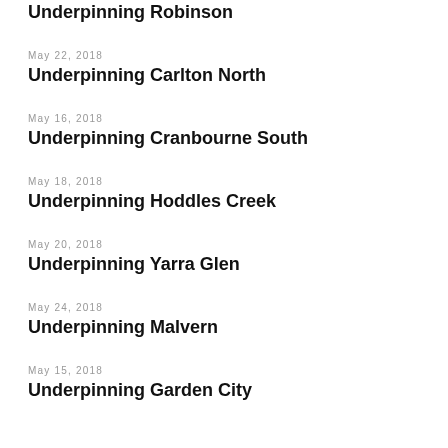Underpinning Robinson
May 22, 2018
Underpinning Carlton North
May 16, 2018
Underpinning Cranbourne South
May 18, 2018
Underpinning Hoddles Creek
May 20, 2018
Underpinning Yarra Glen
May 24, 2018
Underpinning Malvern
May 15, 2018
Underpinning Garden City